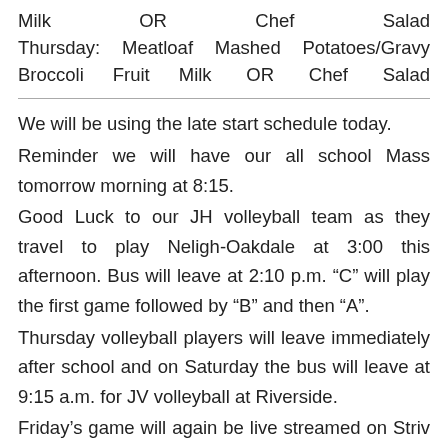Milk OR Chef Salad
Thursday:   Meatloaf   Mashed   Potatoes/Gravy   Broccoli   Fruit   Milk   OR   Chef   Salad
We will be using the late start schedule today.
Reminder we will have our all school Mass tomorrow morning at 8:15.
Good Luck to our JH volleyball team as they travel to play Neligh-Oakdale at 3:00 this afternoon. Bus will leave at 2:10 p.m. “C” will play the first game followed by “B” and then “A”.
Thursday volleyball players will leave immediately after school and on Saturday the bus will leave at 9:15 a.m. for JV volleyball at Riverside.
Friday’s game will again be live streamed on Striv at strivtv/channel/pios/. There will not be any